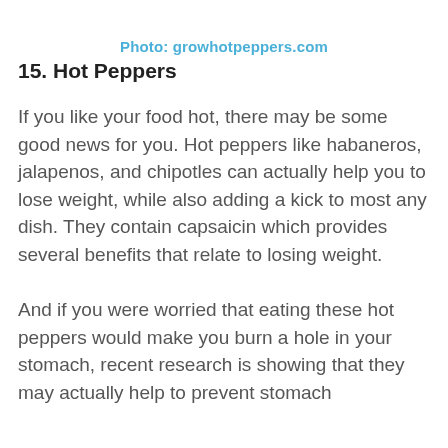Photo: growhotpeppers.com
15. Hot Peppers
If you like your food hot, there may be some good news for you. Hot peppers like habaneros, jalapenos, and chipotles can actually help you to lose weight, while also adding a kick to most any dish. They contain capsaicin which provides several benefits that relate to losing weight.
And if you were worried that eating these hot peppers would make you burn a hole in your stomach, recent research is showing that they may actually help to prevent stomach